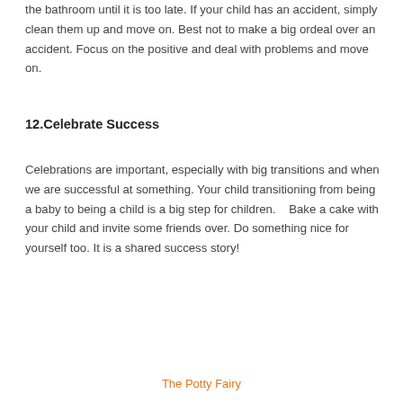the bathroom until it is too late.  If your child has an accident, simply clean them up and move on.  Best not to make a big ordeal over an accident. Focus on the positive and deal with problems and move on.
12.Celebrate Success
Celebrations are important, especially with big transitions and when we are successful at something. Your child transitioning from being a baby to being a child is a big step for children.    Bake a cake with your child and invite some friends over. Do something nice for yourself too. It is a shared success story!
The Potty Fairy